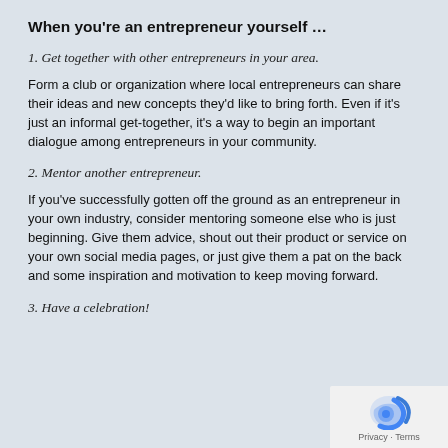When you're an entrepreneur yourself …
1. Get together with other entrepreneurs in your area.
Form a club or organization where local entrepreneurs can share their ideas and new concepts they'd like to bring forth. Even if it's just an informal get-together, it's a way to begin an important dialogue among entrepreneurs in your community.
2. Mentor another entrepreneur.
If you've successfully gotten off the ground as an entrepreneur in your own industry, consider mentoring someone else who is just beginning. Give them advice, shout out their product or service on your own social media pages, or just give them a pat on the back and some inspiration and motivation to keep moving forward.
3. Have a celebration!